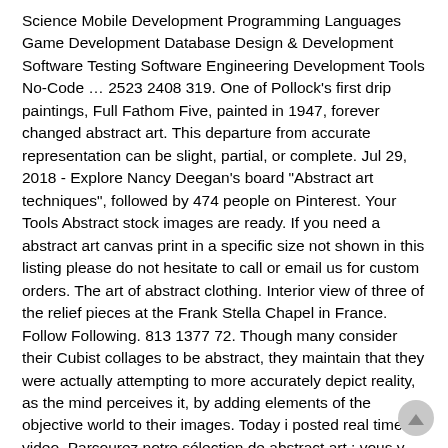Science Mobile Development Programming Languages Game Development Database Design & Development Software Testing Software Engineering Development Tools No-Code … 2523 2408 319. One of Pollock's first drip paintings, Full Fathom Five, painted in 1947, forever changed abstract art. This departure from accurate representation can be slight, partial, or complete. Jul 29, 2018 - Explore Nancy Deegan's board "Abstract art techniques", followed by 474 people on Pinterest. Your Tools Abstract stock images are ready. If you need a abstract art canvas print in a specific size not shown in this listing please do not hesitate to call or email us for custom orders. The art of abstract clothing. Interior view of three of the relief pieces at the Frank Stella Chapel in France. Follow Following. 813 1377 72. Though many consider their Cubist collages to be abstract, they maintain that they were actually attempting to more accurately depict reality, as the mind perceives it, by adding elements of the objective world to their images. Today i posted real time video. Parcourez notre sélection de abstract art : vous y trouverez les